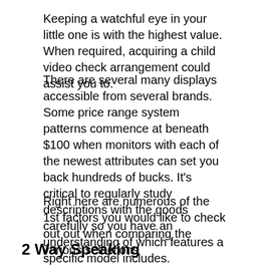Keeping a watchful eye in your little one is with the highest value. When required, acquiring a child video check arrangement could assist you to.
There are several many displays accessible from several brands. Some price range system patterns commence at beneath $100 when monitors with each of the newest attributes can set you back hundreds of bucks. It's critical to regularly study descriptions with the goods carefully so you have an understanding of which features a specific model includes.
Right here are numerous of the 1st factors you would like to check out out when comparing the various selections
2 Way Speaking